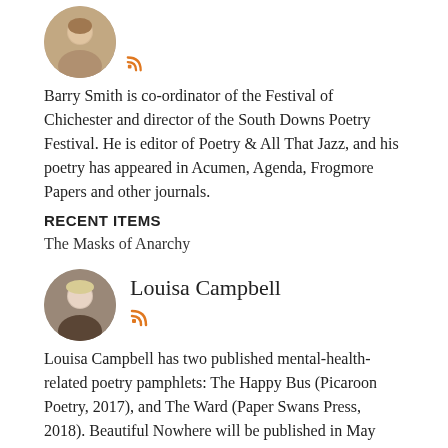[Figure (photo): Circular avatar photo of Barry Smith, an older man smiling]
Barry Smith is co-ordinator of the Festival of Chichester and director of the South Downs Poetry Festival. He is editor of Poetry & All That Jazz, and his poetry has appeared in Acumen, Agenda, Frogmore Papers and other journals.
RECENT ITEMS
The Masks of Anarchy
[Figure (photo): Circular avatar photo of Louisa Campbell, a woman with short blonde hair]
Louisa Campbell
Louisa Campbell has two published mental-health-related poetry pamphlets: The Happy Bus (Picaroon Poetry, 2017), and The Ward (Paper Swans Press, 2018). Beautiful Nowhere will be published in May 2021 by Boatwhistle Books.